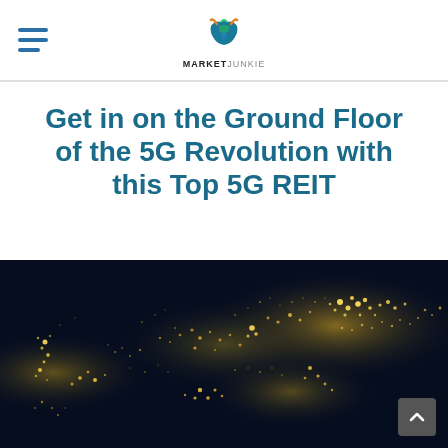Market Junkie (logo with hamburger menu)
Get in on the Ground Floor of the 5G Revolution with this Top 5G REIT
[Figure (photo): Nighttime satellite view of the United States showing city lights and urban network patterns across the country]